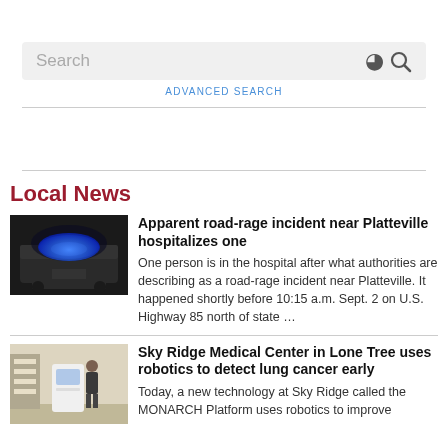Search
ADVANCED SEARCH
Local News
[Figure (photo): Police car with blue emergency lights flashing at night]
Apparent road-rage incident near Platteville hospitalizes one
One person is in the hospital after what authorities are describing as a road-rage incident near Platteville. It happened shortly before 10:15 a.m. Sept. 2 on U.S. Highway 85 north of state …
[Figure (photo): Person at a medical kiosk machine in a hospital lobby]
Sky Ridge Medical Center in Lone Tree uses robotics to detect lung cancer early
Today, a new technology at Sky Ridge called the MONARCH Platform uses robotics to improve